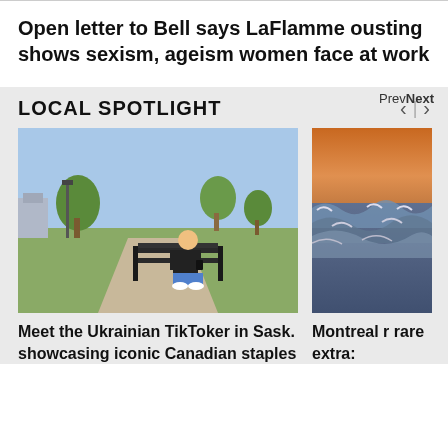Open letter to Bell says LaFlamme ousting shows sexism, ageism women face at work
LOCAL SPOTLIGHT
Prev Next
[Figure (photo): Person sitting on a park bench looking at a phone, outdoors with trees and a path in the background]
Meet the Ukrainian TikToker in Sask. showcasing iconic Canadian staples
[Figure (photo): Rough ocean waves with an orange sunset sky in the background]
Montreal r rare extra: